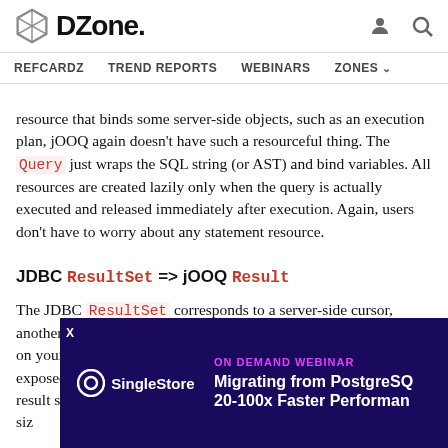DZone. — REFCARDZ  TREND REPORTS  WEBINARS  ZONES
resource that binds some server-side objects, such as an execution plan, jOOQ again doesn't have such a resourceful thing. The Query just wraps the SQL string (or AST) and bind variables. All resources are created lazily only when the query is actually executed and released immediately after execution. Again, users don't have to worry about any statement resource.
JDBC ResultSet => jOOQ Result
The JDBC ResultSet corresponds to a server-side cursor, another object that possibly binds quite a few resources, depending on your fetch mode. Again, in jOOQ no resources are bound / exposed, because jOOQ by default eagerly fetches your entire result set – the assumption being that the result optimisation should handle a reasonable fetch size...
W... an... this:
[Figure (screenshot): Advertisement overlay for SingleStore 'On Demand Webinar: Migrating from PostgreSQL 20-100x Faster Performance' on dark purple background]